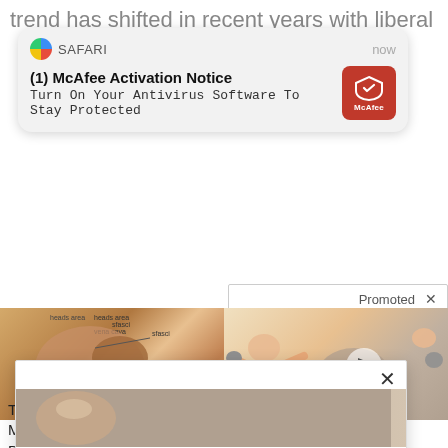trend has shifted in recent years with liberal
[Figure (screenshot): Safari browser notification popup for McAfee Activation Notice: '(1) McAfee Activation Notice - Turn On Your Antivirus Software To Stay Protected' with McAfee red shield logo button]
Promoted ×
[Figure (illustration): Two medical/anatomical illustration images side by side showing shoulder anatomy (left) and a physical therapy or exercise illustration (right) with a play button overlay]
[Figure (screenshot): Popup overlay with close button, showing two clickbait article thumbnails: 'A Tragic End Today For Willie Nelson' and 'Deadly Sex Mistake: The Life Saving Reason You Should Have Sex Regularly']
A Tragic End Today For Willie Nelson
Deadly Sex Mistake: The Life Saving Reason You Should Have Sex Regularly